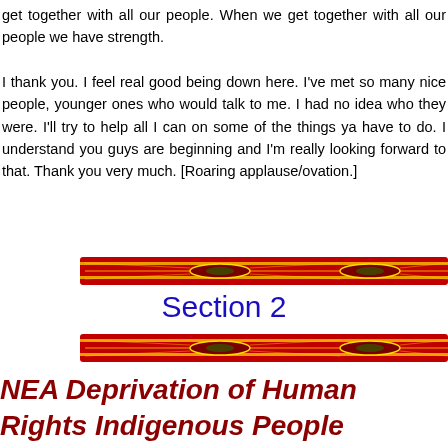get together with all our people. When we get together with all our people we have strength. I thank you. I feel real good being down here. I've met so many nice people, younger ones who would talk to me. I had no idea who they were. I'll try to help all I can on some of the things ya have to do. I understand you guys are beginning and I'm really looking forward to that. Thank you very much. [Roaring applause/ovation.]
[Figure (illustration): Decorative horizontal bar with red and yellow Native American beadwork or weaving pattern]
Section 2
[Figure (illustration): Decorative horizontal bar with red and yellow Native American beadwork or weaving pattern]
NEA Deprivation of Human Rights Indigenous People Resolution